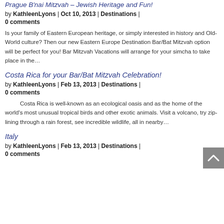Prague B'nai Mitzvah – Jewish Heritage and Fun!
by KathleenLyons | Oct 10, 2013 | Destinations | 0 comments
Is your family of Eastern European heritage, or simply interested in history and Old-World culture? Then our new Eastern Europe Destination Bar/Bat Mitzvah option will be perfect for you! Bar Mitzvah Vacations will arrange for your simcha to take place in the…
Costa Rica for your Bar/Bat Mitzvah Celebration!
by KathleenLyons | Feb 13, 2013 | Destinations | 0 comments
Costa Rica is well-known as an ecological oasis and as the home of the world's most unusual tropical birds and other exotic animals. Visit a volcano, try zip-lining through a rain forest, see incredible wildlife, all in nearby…
Italy
by KathleenLyons | Feb 13, 2013 | Destinations | 0 comments